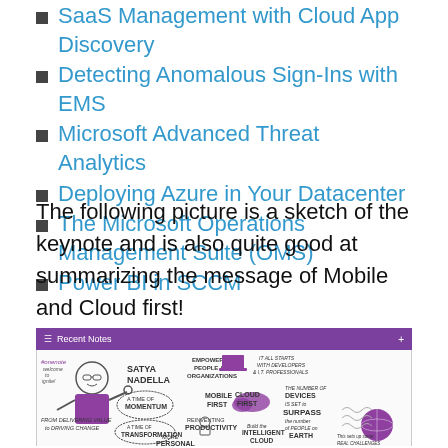SaaS Management with Cloud App Discovery
Detecting Anomalous Sign-Ins with EMS
Microsoft Advanced Threat Analytics
Deploying Azure in Your Datacenter
The Microsoft Operations Management Suite (OMS)
Power BI in SCCM
The following picture is a sketch of the keynote and is also quite good at summarizing the message of Mobile and Cloud first!
[Figure (screenshot): Screenshot of a OneNote-style app showing a sketchnote of Satya Nadella's Ignite keynote with handwritten text and illustrations about Mobile First, Cloud First, empowering people and organizations, momentum, transformation, reinventing productivity, intelligent cloud, and the number of devices surpassing people on Earth.]